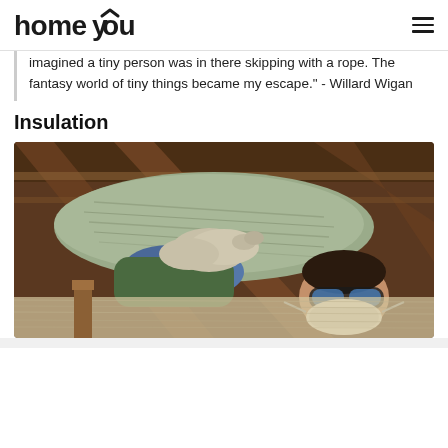homeyou
imagined a tiny person was in there skipping with a rope. The fantasy world of tiny things became my escape." - Willard Wigan
Insulation
[Figure (photo): A person wearing protective gloves, safety goggles, and a respirator mask installs insulation in an attic space between wooden roof rafters. The worker is lying down and holding a large batt of mineral wool insulation.]